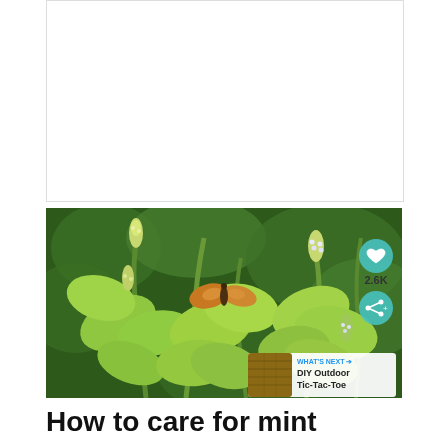[Figure (photo): White rectangular box at top, likely an advertisement placeholder]
[Figure (photo): Close-up photograph of flowering mint plant with bright green leaves and small white/purple flower buds. An orange-brown skipper butterfly is perched on one of the flower spikes. Background shows blurred green foliage. Social sharing UI overlays visible: heart/favorite button, 2.6K count, share button, and a 'WHAT'S NEXT' teaser for 'DIY Outdoor Tic-Tac-Toe'.]
How to care for mint